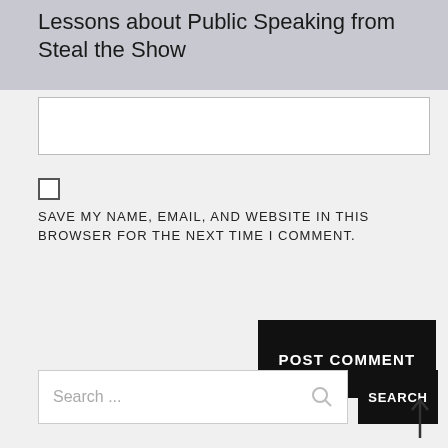Lessons about Public Speaking from Steal the Show
[Figure (other): Text input box (form field)]
[Figure (other): Checkbox (unchecked)]
SAVE MY NAME, EMAIL, AND WEBSITE IN THIS BROWSER FOR THE NEXT TIME I COMMENT.
[Figure (other): POST COMMENT button (black)]
[Figure (other): Search input box with placeholder text 'Search ...' and a search icon]
[Figure (other): SEARCH button (black)]
[Figure (other): Upward arrow icon at bottom right]